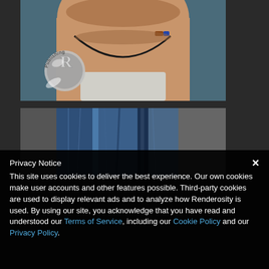[Figure (photo): Close-up of a person's neck/chin area wearing a necklace with a cord and beaded pendant. A circular 'R Publishing' logo watermark is visible in the lower-left of the image.]
[Figure (photo): Close-up of blue denim jeans/jacket fabric showing folds and texture against a dark gray background.]
Privacy Notice
This site uses cookies to deliver the best experience. Our own cookies make user accounts and other features possible. Third-party cookies are used to display relevant ads and to analyze how Renderosity is used. By using our site, you acknowledge that you have read and understood our Terms of Service, including our Cookie Policy and our Privacy Policy.